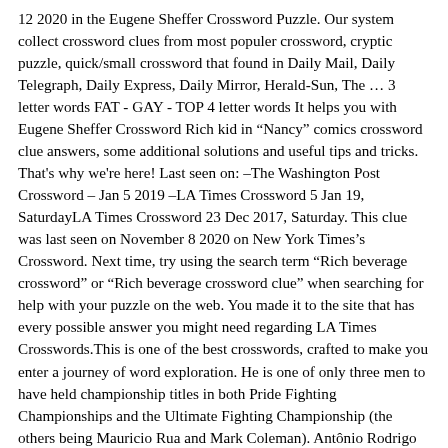12 2020 in the Eugene Sheffer Crossword Puzzle. Our system collect crossword clues from most populer crossword, cryptic puzzle, quick/small crossword that found in Daily Mail, Daily Telegraph, Daily Express, Daily Mirror, Herald-Sun, The … 3 letter words FAT - GAY - TOP 4 letter words It helps you with Eugene Sheffer Crossword Rich kid in “Nancy” comics crossword clue answers, some additional solutions and useful tips and tricks. That's why we're here! Last seen on: –The Washington Post Crossword – Jan 5 2019 –LA Times Crossword 5 Jan 19, SaturdayLA Times Crossword 23 Dec 2017, Saturday. This clue was last seen on November 8 2020 on New York Times’s Crossword. Next time, try using the search term “Rich beverage crossword” or “Rich beverage crossword clue” when searching for help with your puzzle on the web. You made it to the site that has every possible answer you might need regarding LA Times Crosswords.This is one of the best crosswords, crafted to make you enter a journey of word exploration. He is one of only three men to have held championship titles in both Pride Fighting Championships and the Ultimate Fighting Championship (the others being Mauricio Rua and Mark Coleman). Antônio Rodrigo Nogueira (Portuguese pronunciation: [ẽˈtoniu ɓoˈdɹɪgu noˈ☞ɹɛ], born June 2, 1976), better known as Minotauro, is a retired Brazilian mixed martial artist. Below you may find the answer for: Protein-rich dish crossword clue.This clue was last seen on Wall Street Journal Crossword October 29 2020 Answers In case the